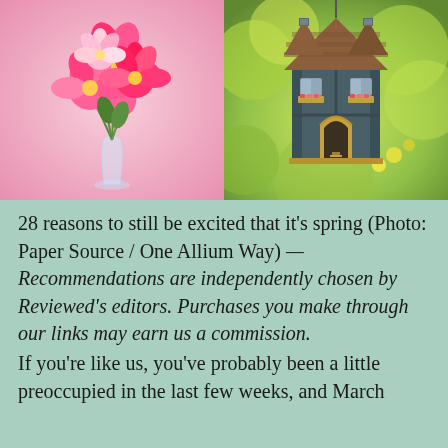[Figure (photo): Two side-by-side photos: left shows pink and magenta flowers in a glass vase against a pink background; right shows a decorative gray and wood birdhouse hanging outdoors with green/yellow foliage background.]
28 reasons to still be excited that it's spring (Photo: Paper Source / One Allium Way) — Recommendations are independently chosen by Reviewed's editors. Purchases you make through our links may earn us a commission.
If you're like us, you've probably been a little preoccupied in the last few weeks, and March